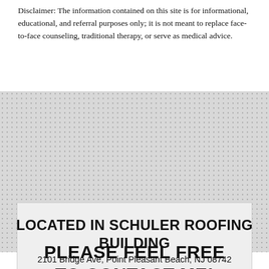Disclaimer: The information contained on this site is for informational, educational, and referral purposes only; it is not meant to replace face-to-face counseling, traditional therapy, or serve as medical advice.
[Figure (other): Gray dotted background panel containing a light gray box with bold text 'PLEASE FEEL FREE TO CONTACT ME!']
LOCATED IN SCHULER ROOFING BUILDING
2101 Bridge Ave, Point Pleasant Beach, NJ 08742